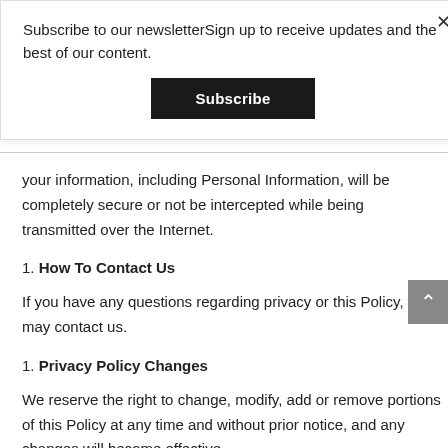Subscribe to our newsletterSign up to receive updates and the best of our content.
Subscribe
your information, including Personal Information, will be completely secure or not be intercepted while being transmitted over the Internet.
1. How To Contact Us
If you have any questions regarding privacy or this Policy, you may contact us.
1. Privacy Policy Changes
We reserve the right to change, modify, add or remove portions of this Policy at any time and without prior notice, and any changes will become effective